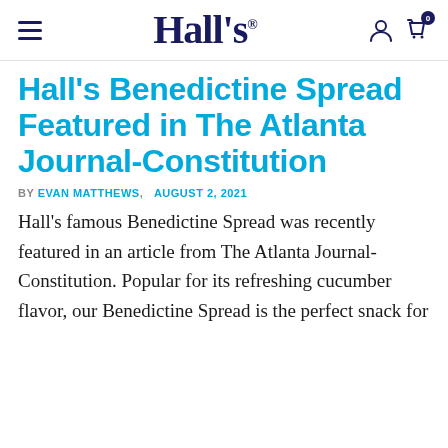Hall's
Hall's Benedictine Spread Featured in The Atlanta Journal-Constitution
BY EVAN MATTHEWS,   AUGUST 2, 2021
Hall's famous Benedictine Spread was recently featured in an article from The Atlanta Journal-Constitution. Popular for its refreshing cucumber flavor, our Benedictine Spread is the perfect snack for